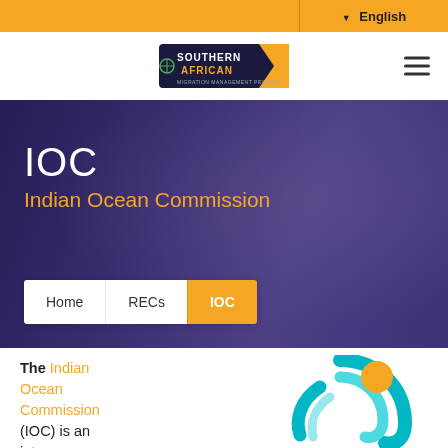▼ English
[Figure (logo): Southern African Migration Management Project logo]
IOC
Indian Ocean Commission
Home
RECs
IOC
The Indian Ocean Commission (IOC) is an intergovernmental
[Figure (logo): Indian Ocean Commission circular logo with teal swirl and orange circle]